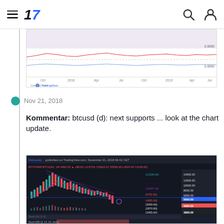TradingView navigation header
[Figure (screenshot): TradingView chart screenshot showing oscillator/MACD-like indicator with pink shaded area and red/blue lines over time axis showing Oct, Apr, Jul, Oct, Apr, Jul dates. Created with TradingView watermark.]
Nov 21, 2018
Kommentar: btcusd (d): next supports ... look at the chart update.
[Figure (screenshot): TradingView Bitcoin/Dollar 1W chart from Bitstamp published November 21, 2018. Shows candlestick chart with descending channel, EMA, MACD strategy indicators. Price levels marked: 12199.00, 10637.46, 5751.82, 5660.00, 4855.68(?), 4980.00, 3880.00, 3000.66, 2870.80, 3455.60. Stochastic and other sub-indicators visible at bottom.]